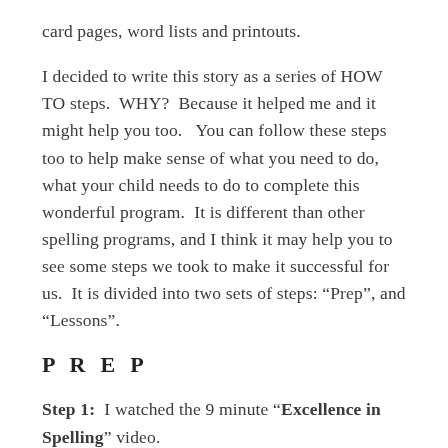card pages, word lists and printouts.
I decided to write this story as a series of HOW TO steps.  WHY?  Because it helped me and it might help you too.   You can follow these steps too to help make sense of what you need to do, what your child needs to do to complete this wonderful program.  It is different than other spelling programs, and I think it may help you to see some steps we took to make it successful for us.  It is divided into two sets of steps: “Prep”, and “Lessons”.
P R E P
Step 1:  I watched the 9 minute “Excellence in Spelling” video.